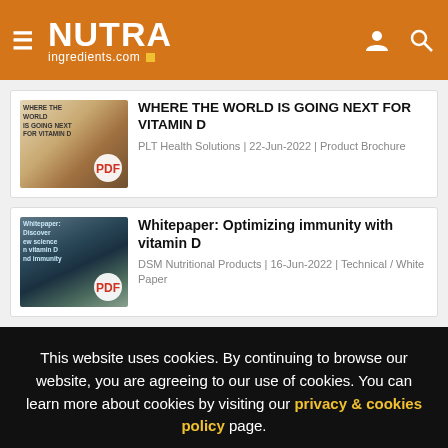NUTRAingredients.com
[Figure (photo): Thumbnail image for article about Vitamin D, showing a person with text overlay, PDF icon badge]
WHERE THE WORLD IS GOING NEXT FOR VITAMIN D
PLT Health Solutions | 22-Jun-2022 | Product Brochure
[Figure (photo): Thumbnail for whitepaper about immunity with vitamin D, showing a person outdoors with text overlay, PDF icon badge]
Whitepaper: Optimizing immunity with vitamin D
DSM Nutritional Products | 16-Jun-2022 | Technical / White Paper
This website uses cookies. By continuing to browse our website, you are agreeing to our use of cookies. You can learn more about cookies by visiting our privacy & cookies policy page.